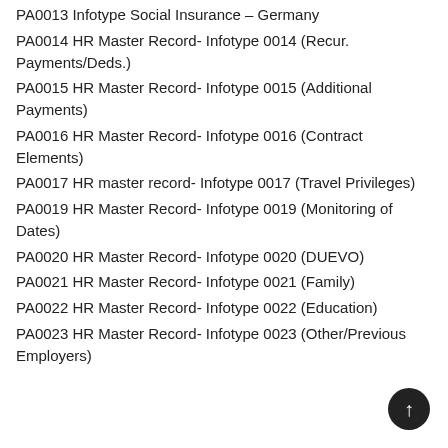PA0013 Infotype Social Insurance – Germany
PA0014 HR Master Record- Infotype 0014 (Recur. Payments/Deds.)
PA0015 HR Master Record- Infotype 0015 (Additional Payments)
PA0016 HR Master Record- Infotype 0016 (Contract Elements)
PA0017 HR master record- Infotype 0017 (Travel Privileges)
PA0019 HR Master Record- Infotype 0019 (Monitoring of Dates)
PA0020 HR Master Record- Infotype 0020 (DUEVO)
PA0021 HR Master Record- Infotype 0021 (Family)
PA0022 HR Master Record- Infotype 0022 (Education)
PA0023 HR Master Record- Infotype 0023 (Other/Previous Employers)